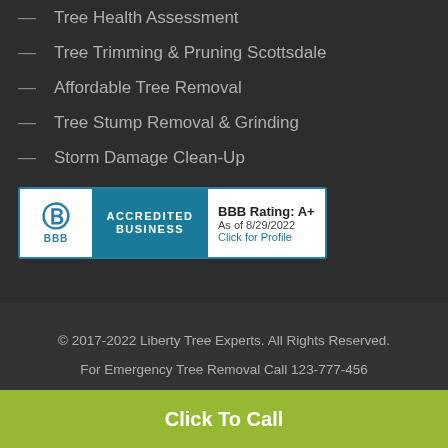Tree Health Assessment
Tree Trimming & Pruning Scottsdale
Affordable Tree Removal
Tree Stump Removal & Grinding
Storm Damage Clean-Up
[Figure (logo): BBB Accredited Business badge with rating A+ as of 8/29/2022]
© 2017-2022 Liberty Tree Experts. All Rights Reserved.
For Emergency Tree Removal Call 123-777-456
Click To Call